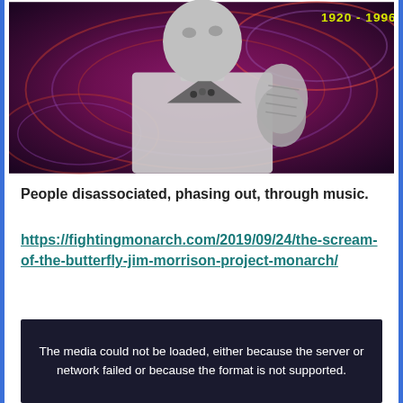[Figure (photo): Black and white photo of a man looking upward with hands clasped in prayer, set against a colorful psychedelic swirling background in red and purple hues. Text '1920-1996' visible in yellow at top right.]
People disassociated, phasing out, through music.
https://fightingmonarch.com/2019/09/24/the-scream-of-the-butterfly-jim-morrison-project-monarch/
[Figure (screenshot): Video player showing error message: 'The media could not be loaded, either because the server or network failed or because the format is not supported.']